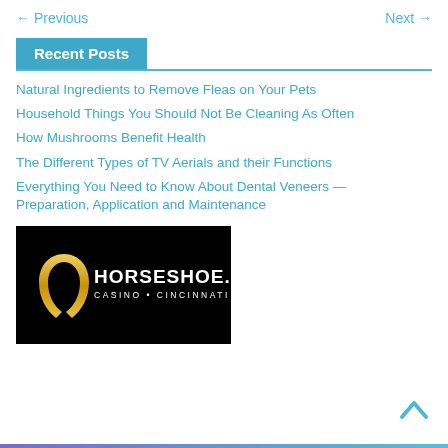← Previous    Next →
Recent Posts
Natural Ingredients to Remove Fleas on Your Pets
Household Things You Should Not Be Cleaning As Often
How Mushrooms Benefit Health
The Different Types of TV Aerials and their Functions
Everything You Need to Know About Dental Veneers — Preparation, Application and Maintenance
[Figure (logo): Horseshoe Casino Cincinnati logo on black background with golden horseshoe graphic]